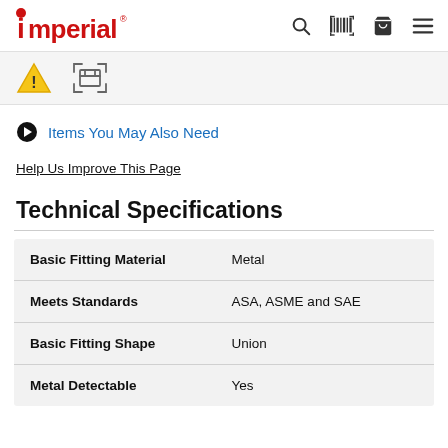Imperial — navigation header with search, barcode, cart, and menu icons
[Figure (other): Warning triangle icon and barcode/scanner icon in gray strip]
Items You May Also Need
Help Us Improve This Page
Technical Specifications
| Attribute | Value |
| --- | --- |
| Basic Fitting Material | Metal |
| Meets Standards | ASA, ASME and SAE |
| Basic Fitting Shape | Union |
| Metal Detectable | Yes |